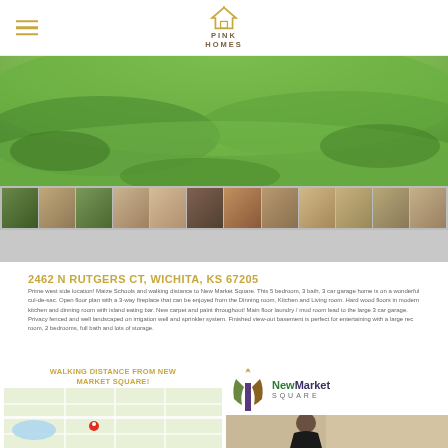Pink Homes
[Figure (photo): Aerial/landscape photo of grass lawn for property listing hero image]
[Figure (photo): Strip of 12 thumbnail photos showing various rooms and exterior views of the property]
2462 N RUTGERS CT, WICHITA, KS 67205
Prime west side location! Maize Schools and walking distance to New Market Square. This 5 bedroom, 3 bath, 3 car garage home is on a wonderful cul-de-sac. Open floor plan with a 3-way fireplace that can be enjoyed from the Dinning room, Kitchen and Living room. Hard wood floors in modern kitchen and dinning room with island eating bar. New carpet and paint throughout! Main floor laundry / mud room lead to the large 3 car garage. Privacy fenced and well landscaped on irrigation well and sprinkler system. Finished view-out basement is perfect for entertaining with a large rec room, 2 bedrooms, full bath and lots of storage.
WALKING DISTANCE FROM NEW MARKET SQUARE!
[Figure (map): Google Maps view showing location pin for 2462 N Rutgers Ct, Wichita, KS]
[Figure (logo): NewMarket Square logo with stylized M icon in green/brown/purple colors]
[Figure (photo): Photo of a woman from behind walking near NewMarket Square]